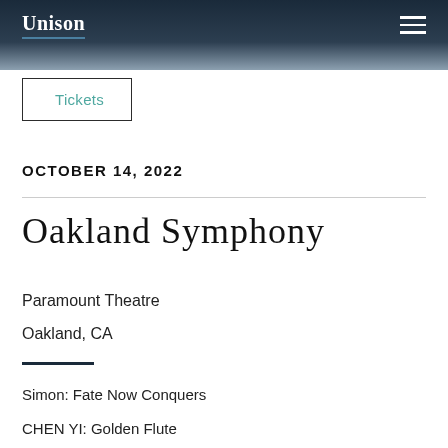Unison
Tickets
OCTOBER 14, 2022
Oakland Symphony
Paramount Theatre
Oakland, CA
Simon: Fate Now Conquers
CHEN YI: Golden Flute